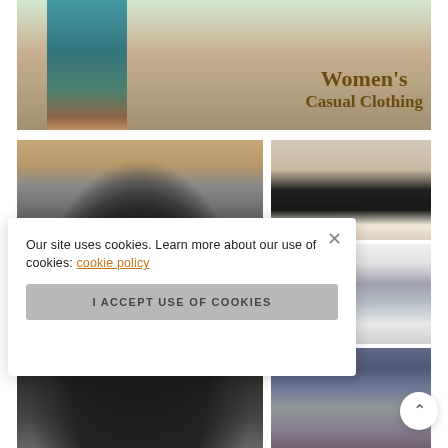[Figure (photo): Banner image showing a woman wearing teal/blue printed casual pants and sandals, with text overlay reading Women's Casual Clothing in dark gold/brown serif font on a light background]
[Figure (photo): Large image of a woman wearing a black lace and skull-graphic short-sleeve shirt, showing torso. To the right: three smaller images — (1) woman with skull-print headband/hair accessory, (2) woman from behind wearing white top with angel wings print, (3) close-up of embellished jeans]
Our site uses cookies. Learn more about our use of cookies: cookie policy
I ACCEPT USE OF COOKIES